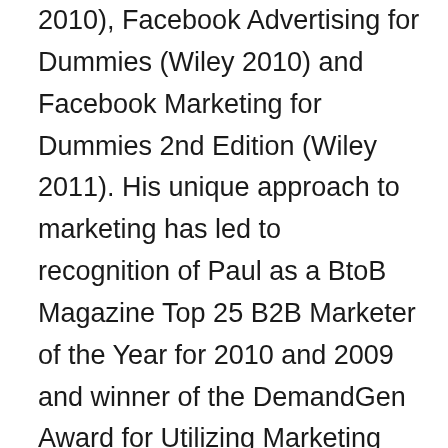2010), Facebook Advertising for Dummies (Wiley 2010) and Facebook Marketing for Dummies 2nd Edition (Wiley 2011). His unique approach to marketing has led to recognition of Paul as a BtoB Magazine Top 25 B2B Marketer of the Year for 2010 and 2009 and winner of the DemandGen Award for Utilizing Marketing Automation to Fuel Corporate Growth in 2008. He is also a finalist for the last six years in a row in the Marketing Excellence Awards competition of the Information Technology Services Marketing Association (ITSMA), and is a